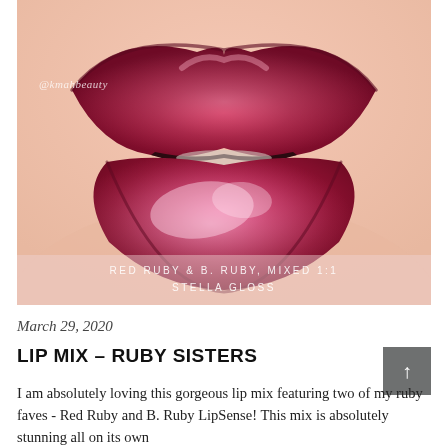[Figure (photo): Close-up photo of lips wearing a glossy deep ruby/magenta lip color. The lips are heavily glossed and richly pigmented in a deep pink-red shade. A watermark reading '@kmahbeauty' appears in the upper left. Text overlay at the bottom reads: 'RED RUBY & B. RUBY, MIXED 1:1 / STELLA GLOSS']
March 29, 2020
LIP MIX – RUBY SISTERS
I am absolutely loving this gorgeous lip mix featuring two of my ruby faves - Red Ruby and B. Ruby LipSense! This mix is absolutely stunning all on its own